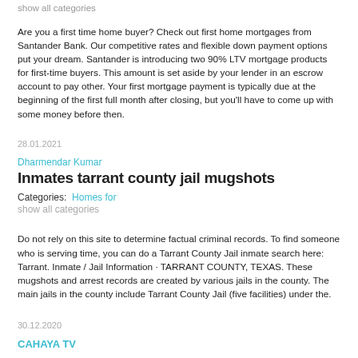show all categories
Are you a first time home buyer? Check out first home mortgages from Santander Bank. Our competitive rates and flexible down payment options put your dream. Santander is introducing two 90% LTV mortgage products for first-time buyers. This amount is set aside by your lender in an escrow account to pay other. Your first mortgage payment is typically due at the beginning of the first full month after closing, but you'll have to come up with some money before then.
28.01.2021
Dharmendar Kumar
Inmates tarrant county jail mugshots
Categories:  Homes for
show all categories
Do not rely on this site to determine factual criminal records. To find someone who is serving time, you can do a Tarrant County Jail inmate search here: Tarrant. Inmate / Jail Information · TARRANT COUNTY, TEXAS. These mugshots and arrest records are created by various jails in the county. The main jails in the county include Tarrant County Jail (five facilities) under the.
30.12.2020
CAHAYA TV